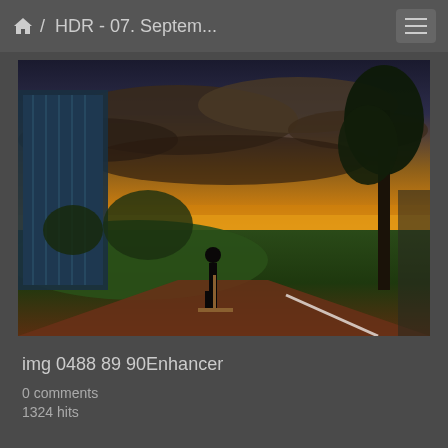🏠 / HDR - 07. Septem...
[Figure (photo): HDR photograph of a person standing with a scooter/pogo stick on a brick path beside a green lawn, with a dramatic sunset sky featuring orange and purple clouds. A modern glass building is on the left, and trees line the right side of the scene.]
img 0488 89 90Enhancer
0 comments
1324 hits